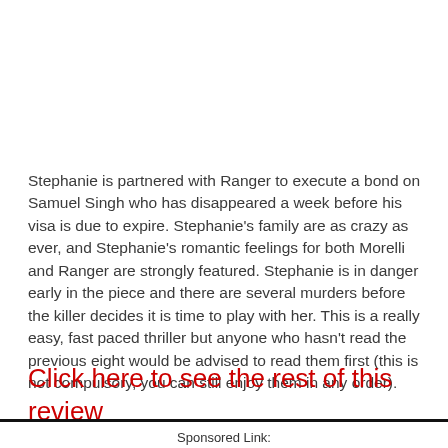Stephanie is partnered with Ranger to execute a bond on Samuel Singh who has disappeared a week before his visa is due to expire. Stephanie's family are as crazy as ever, and Stephanie's romantic feelings for both Morelli and Ranger are strongly featured. Stephanie is in danger early in the piece and there are several murders before the killer decides it is time to play with her. This is a really easy, fast paced thriller but anyone who hasn't read the previous eight would be advised to read them first (this is not compulsory, you can still enjoy them in any order).
Click here to see the rest of this review
Sponsored Link: